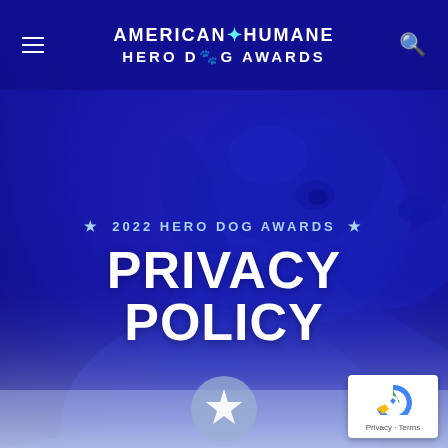[Figure (illustration): Blue-tinted background with a dog (Labrador/Weimaraner type) looking upward, overlaid with dark blue gradient. Website screenshot of American Humane Hero Dog Awards privacy policy page.]
AMERICAN★HUMANE HERO DOG AWARDS
2022 HERO DOG AWARDS — PRIVACY POLICY
Privacy · Terms